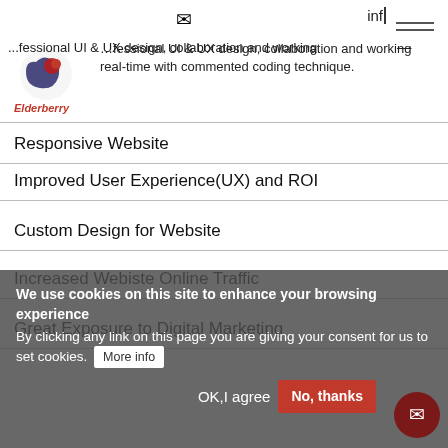inf
...fessional UI & UX design, collaboration and working real-time with commented coding technique.
[Figure (logo): Elderberry logo with swirl graphic and red italic text 'Elderberry']
Responsive Website
Improved User Experience(UX) and ROI
Custom Design for Website
Increased Webiste Online Traffic
Great Exposure to Digital Marketing
We use cookies on this site to enhance your browsing experience
By clicking any link on this page you are giving your consent for us to set cookies. More info
OK,I agree   No, thanks